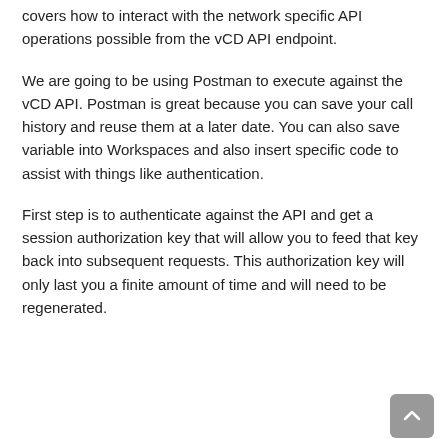covers how to interact with the network specific API operations possible from the vCD API endpoint.
We are going to be using Postman to execute against the vCD API. Postman is great because you can save your call history and reuse them at a later date. You can also save variable into Workspaces and also insert specific code to assist with things like authentication.
First step is to authenticate against the API and get a session authorization key that will allow you to feed that key back into subsequent requests. This authorization key will only last you a finite amount of time and will need to be regenerated.